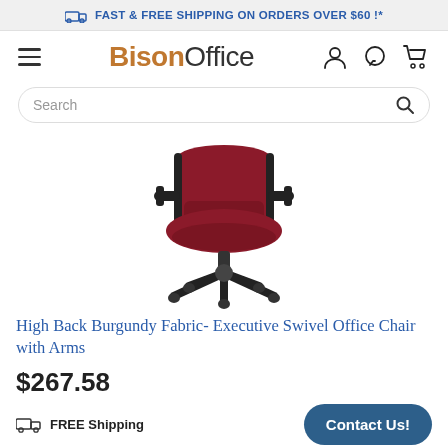FAST & FREE SHIPPING ON ORDERS OVER $60 !*
[Figure (logo): BisonOffice logo with hamburger menu, user icon, chat icon, and cart icon]
[Figure (other): Search bar with magnifying glass icon]
[Figure (photo): High back burgundy fabric executive swivel office chair with arms on black base with wheels]
High Back Burgundy Fabric- Executive Swivel Office Chair with Arms
$267.58
FREE Shipping
Contact Us!